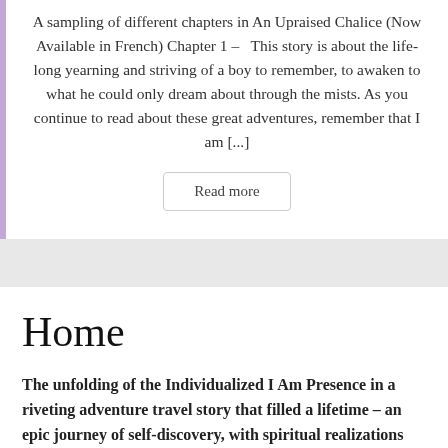A sampling of different chapters in An Upraised Chalice (Now Available in French) Chapter 1 –  This story is about the life-long yearning and striving of a boy to remember, to awaken to what he could only dream about through the mists. As you continue to read about these great adventures, remember that I am [...]
Read more
Home
The unfolding of the Individualized I Am Presence in a riveting adventure travel story that filled a lifetime – an epic journey of self-discovery, with spiritual realizations and